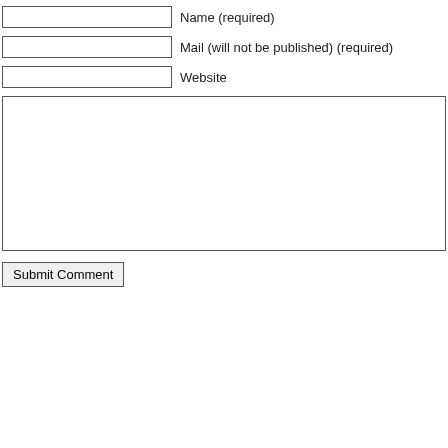Name (required)
Mail (will not be published) (required)
Website
Submit Comment